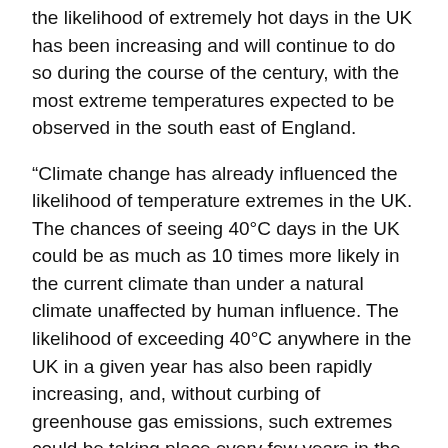the likelihood of extremely hot days in the UK has been increasing and will continue to do so during the course of the century, with the most extreme temperatures expected to be observed in the south east of England.
“Climate change has already influenced the likelihood of temperature extremes in the UK. The chances of seeing 40°C days in the UK could be as much as 10 times more likely in the current climate than under a natural climate unaffected by human influence. The likelihood of exceeding 40°C anywhere in the UK in a given year has also been rapidly increasing, and, without curbing of greenhouse gas emissions, such extremes could be taking place every few years in the climate of 2100.”
High-resolution HadUK-Grid dataset